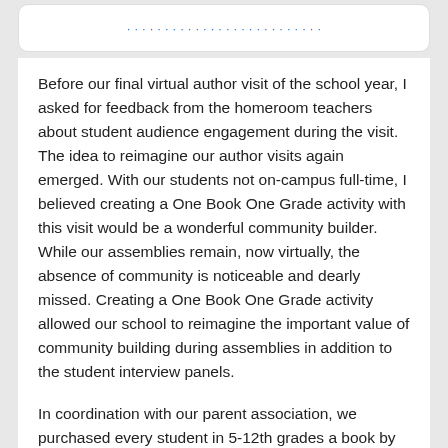Before our final virtual author visit of the school year, I asked for feedback from the homeroom teachers about student audience engagement during the visit. The idea to reimagine our author visits again emerged. With our students not on-campus full-time, I believed creating a One Book One Grade activity with this visit would be a wonderful community builder. While our assemblies remain, now virtually, the absence of community is noticeable and dearly missed. Creating a One Book One Grade activity allowed our school to reimagine the important value of community building during assemblies in addition to the student interview panels.
In coordination with our parent association, we purchased every student in 5-12th grades a book by author Nnedi Okorafor before her visit. Her middle-grade novel Ikenga was gifted to the fifth and sixth grades. The young adult award-winning novel Akata Witch was read by the seventh and eighth graders, as well as the freshmen. The first book in the novella Binti...